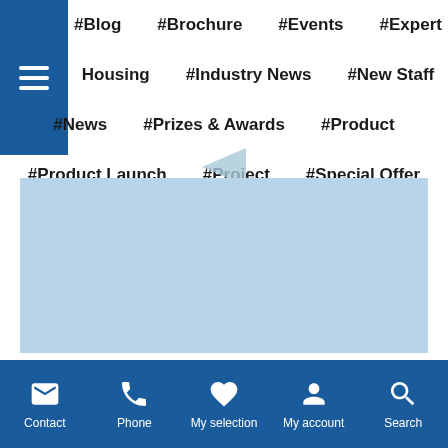#Blog  #Brochure  #Events  #Expert
Housing  #Industry News  #New Staff
#News  #Prizes & Awards  #Product
#Product Launch  #Project  #Special Offer
#unclassed
[Figure (screenshot): Light blue content image area with a small triangle/play arrow above it]
Contact  Phone  My selection  My account  Search